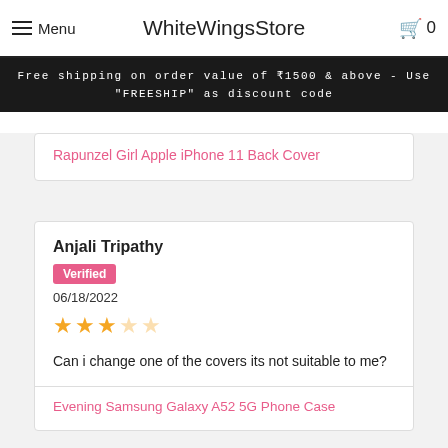Menu | WhiteWingsStore | Cart 0
Free shipping on order value of ₹1500 & above - Use "FREESHIP" as discount code
Rapunzel Girl Apple iPhone 11 Back Cover
Anjali Tripathy
Verified
06/18/2022
3 out of 5 stars
Can i change one of the covers its not suitable to me?
Evening Samsung Galaxy A52 5G Phone Case
Akanksha Kuliyal
Verified
06/17/2022
2.5 out of 5 stars